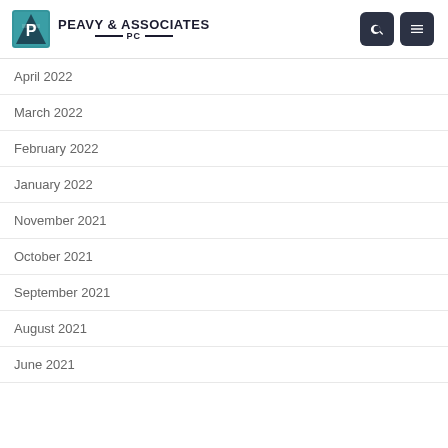Peavy & Associates PC
April 2022
March 2022
February 2022
January 2022
November 2021
October 2021
September 2021
August 2021
June 2021